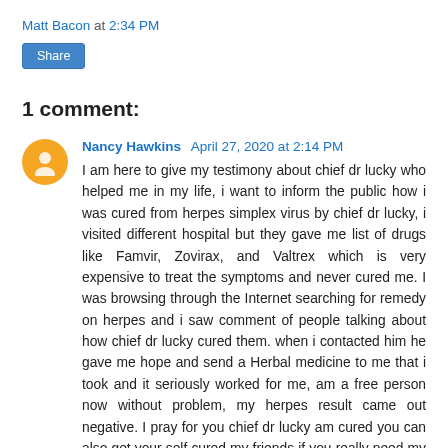Matt Bacon at 2:34 PM
Share
1 comment:
Nancy Hawkins  April 27, 2020 at 2:14 PM
I am here to give my testimony about chief dr lucky who helped me in my life, i want to inform the public how i was cured from herpes simplex virus by chief dr lucky, i visited different hospital but they gave me list of drugs like Famvir, Zovirax, and Valtrex which is very expensive to treat the symptoms and never cured me. I was browsing through the Internet searching for remedy on herpes and i saw comment of people talking about how chief dr lucky cured them. when i contacted him he gave me hope and send a Herbal medicine to me that i took and it seriously worked for me, am a free person now without problem, my herpes result came out negative. I pray for you chief dr lucky am cured you can also get your self cured my friends if you really need my doctor help, you can reach him now